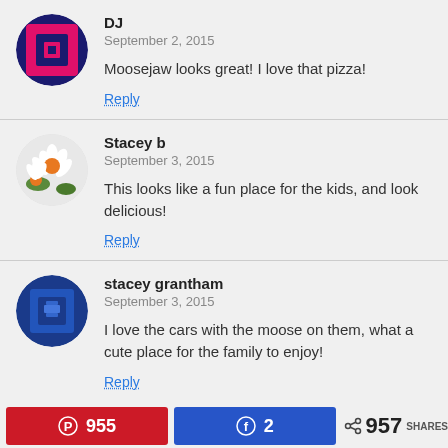DJ
September 2, 2015
Moosejaw looks great! I love that pizza!
Reply
Stacey b
September 3, 2015
This looks like a fun place for the kids, and look delicious!
Reply
stacey grantham
September 3, 2015
I love the cars with the moose on them, what a cute place for the family to enjoy!
Reply
955 | 2 | 957 SHARES